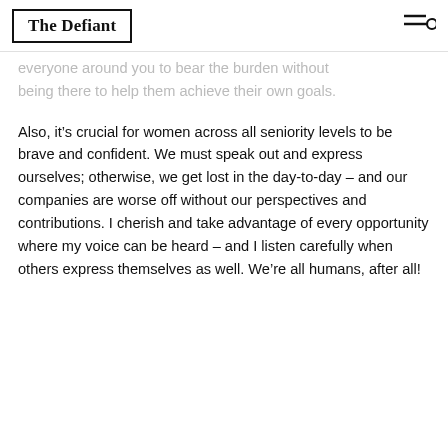The Defiant
everyone around you to bear the burden without being there to help them achieve their own goals.
Also, it’s crucial for women across all seniority levels to be brave and confident. We must speak out and express ourselves; otherwise, we get lost in the day-to-day – and our companies are worse off without our perspectives and contributions. I cherish and take advantage of every opportunity where my voice can be heard – and I listen carefully when others express themselves as well. We’re all humans, after all!